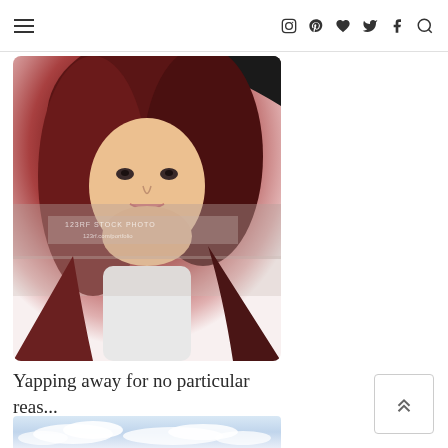Navigation menu and social icons: hamburger menu, Instagram, Pinterest, heart/Bloglovin, Twitter, Facebook, Search
[Figure (photo): Selfie photo of a woman with long red/dark hair in a car, with a watermark overlay in the middle]
Yapping away for no particular reas...
[Figure (photo): Partial photo showing a cloudy sky landscape, cropped at bottom of page]